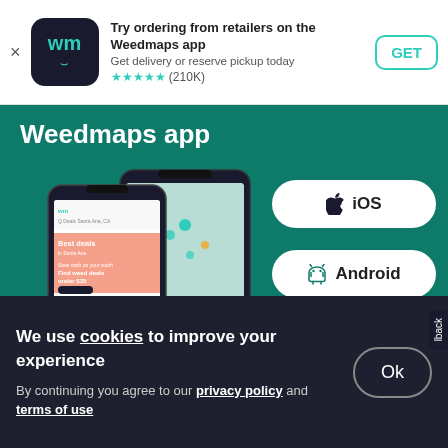[Figure (screenshot): Weedmaps app store banner with WM logo icon, app title, subtitle, star rating (210K), and GET button]
[Figure (screenshot): Weedmaps teal hero section showing 'Weedmaps app' title, two phone mockups with app screens, iOS and Android download buttons]
[Figure (logo): Weedmaps logo in teal on light background]
We use cookies to improve your experience
By continuing you agree to our privacy policy and terms of use
Ok